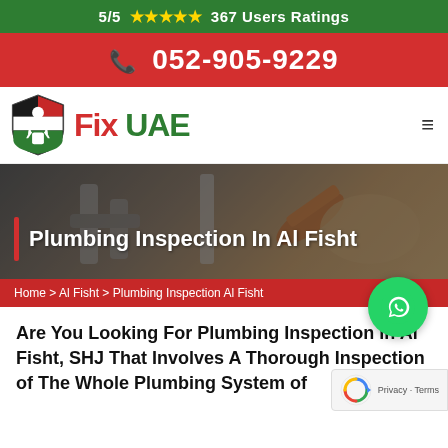5/5 ★★★★★ 367 Users Ratings
052-905-9229
[Figure (logo): Fix UAE logo with shield icon showing a plumber]
Plumbing Inspection In Al Fisht
Home > Al Fisht > Plumbing Inspection Al Fisht
Are You Looking For Plumbing Inspection in Al Fisht, SHJ That Involves A Thorough Inspection of The Whole Plumbing System of